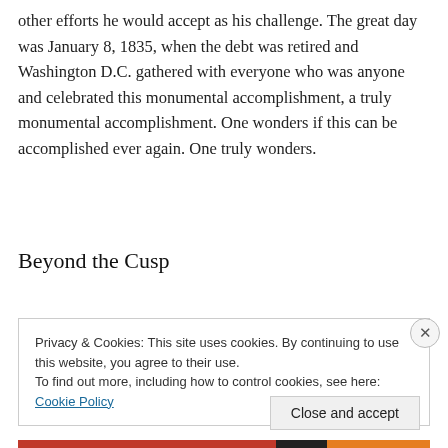other efforts he would accept as his challenge. The great day was January 8, 1835, when the debt was retired and Washington D.C. gathered with everyone who was anyone and celebrated this monumental accomplishment, a truly monumental accomplishment. One wonders if this can be accomplished ever again. One truly wonders.
Beyond the Cusp
Privacy & Cookies: This site uses cookies. By continuing to use this website, you agree to their use.
To find out more, including how to control cookies, see here: Cookie Policy
Close and accept